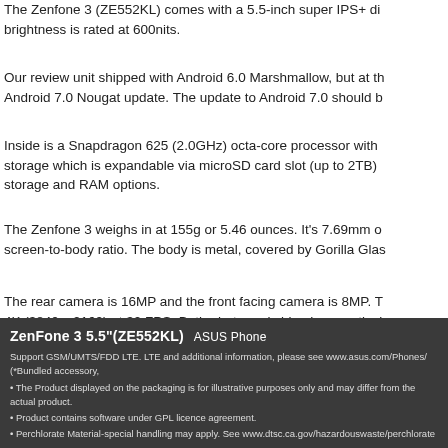The Zenfone 3 (ZE552KL) comes with a 5.5-inch super IPS+ di... brightness is rated at 600nits.
Our review unit shipped with Android 6.0 Marshmallow, but at th... Android 7.0 Nougat update. The update to Android 7.0 should b...
Inside is a Snapdragon 625 (2.0GHz) octa-core processor with ... storage which is expandable via microSD card slot (up to 2TB) ... storage and RAM options.
The Zenfone 3 weighs in at 155g or 5.46 ounces. It’s 7.69mm o... screen-to-body ratio. The body is metal, covered by Gorilla Glas...
The rear camera is 16MP and the front facing camera is 8MP. T... 4K (3840 x 2160) at 30 FPS. Both photo and video have optical...
[Figure (other): Dark product label/packaging info box for ZenFone 3 5.5 inch (ZE552KL) ASUS Phone with regulatory text about GSM/UMTS/FDD LTE, product display disclaimer, GPL licence, and perchlorate material handling notice.]